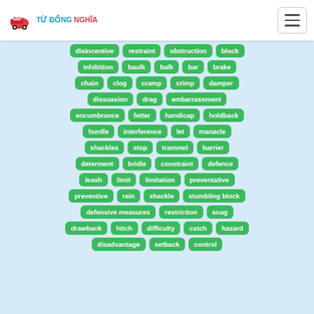Từ Đồng Nghĩa
[Figure (infographic): Tag cloud of synonyms rendered as green rounded badges: disincentive, restraint, obstruction, block, inhibition, baulk, balk, bar, brake, chain, clog, cramp, crimp, damper, dissuasion, drag, embarrassment, encumbrance, fetter, handicap, holdback, hurdle, interference, let, manacle, shackles, stop, trammel, barrier, determent, bridle, constraint, defence, leash, limit, limitation, preventative, preventive, rein, shackle, stumbling block, defensive measures, restriction, snag, drawback, hitch, difficulty, catch, hazard, disadvantage, setback, control]